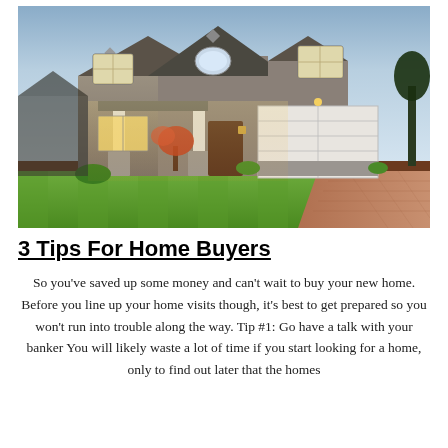[Figure (photo): Exterior photograph of a large two-story suburban house at dusk, with illuminated windows, white garage door, stone columns, manicured green lawn, and a brick driveway under a blue-purple sky.]
3 Tips For Home Buyers
So you've saved up some money and can't wait to buy your new home. Before you line up your home visits though, it's best to get prepared so you won't run into trouble along the way. Tip #1: Go have a talk with your banker You will likely waste a lot of time if you start looking for a home, only to find out later that the homes